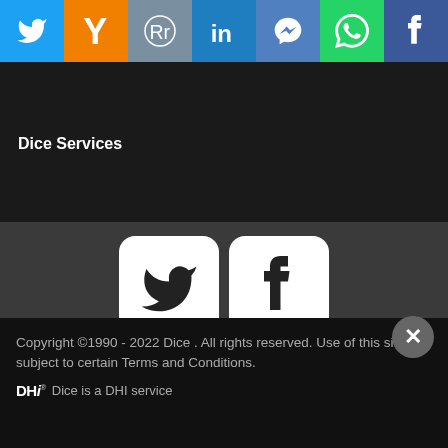[Figure (screenshot): Social share bar with Twitter, Yahoo, Reddit, LinkedIn, Messenger, WhatsApp, Facebook icons]
Dice Services
[Figure (screenshot): Twitter and Facebook white square icons side by side]
[Figure (screenshot): Google Play store download button]
[Figure (screenshot): Apple App Store download button]
Copyright ©1990 - 2022 Dice . All rights reserved. Use of this site is subject to certain Terms and Conditions.
DHI Dice is a DHI service